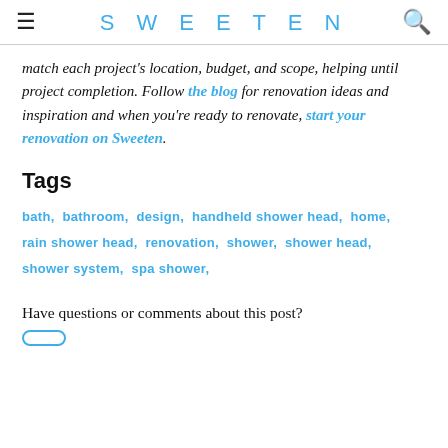SWEETEN
match each project's location, budget, and scope, helping until project completion. Follow the blog for renovation ideas and inspiration and when you're ready to renovate, start your renovation on Sweeten.
Tags
bath, bathroom, design, handheld shower head, home, rain shower head, renovation, shower, shower head, shower system, spa shower,
Have questions or comments about this post?